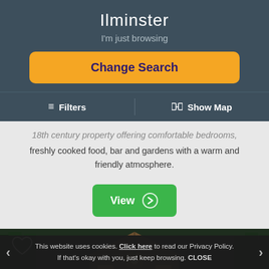Ilminster
I'm just browsing
Change Search
≡ Filters  |  🗺 Show Map
18th century property offering comfortable bedrooms, freshly cooked food, bar and gardens with a warm and friendly atmosphere.
View →
[Figure (photo): Wooden cabin or lodge structure with triangular roofline and warm lighting, surrounded by dark forest trees at dusk.]
This website uses cookies. Click here to read our Privacy Policy. If that's okay with you, just keep browsing. CLOSE